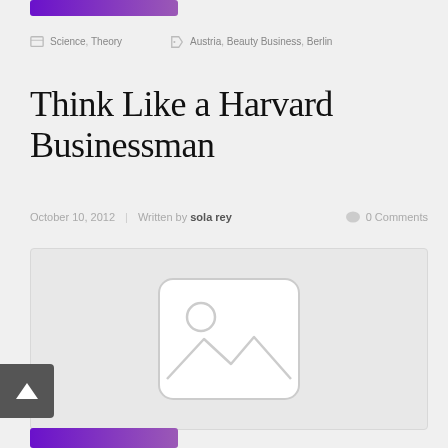[Figure (other): Purple gradient button bar at top]
Science, Theory   Austria, Beauty Business, Berlin
Think Like a Harvard Businessman
October 10, 2012  |  Written by sola rey   0 Comments
[Figure (photo): Image placeholder with mountain/photo icon in light gray box]
[Figure (other): Back to top button (dark gray square with upward arrow)]
[Figure (other): Purple gradient button bar at bottom]